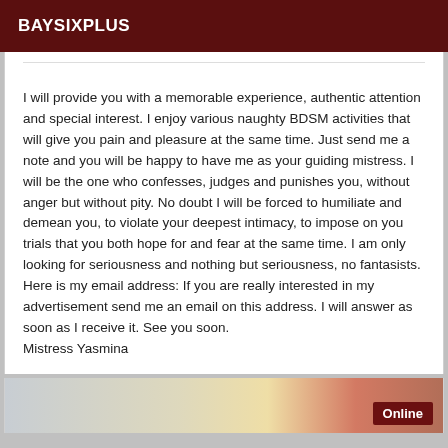BAYSIXPLUS
I will provide you with a memorable experience, authentic attention and special interest. I enjoy various naughty BDSM activities that will give you pain and pleasure at the same time. Just send me a note and you will be happy to have me as your guiding mistress. I will be the one who confesses, judges and punishes you, without anger but without pity. No doubt I will be forced to humiliate and demean you, to violate your deepest intimacy, to impose on you trials that you both hope for and fear at the same time. I am only looking for seriousness and nothing but seriousness, no fantasists. Here is my email address: If you are really interested in my advertisement send me an email on this address. I will answer as soon as I receive it. See you soon. Mistress Yasmina
[Figure (photo): Partial image at bottom of page with Online badge in dark red]